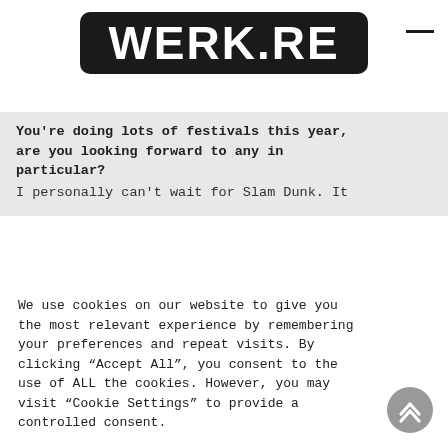[Figure (logo): WERK.RE logo in white bold text on black rounded rectangle background]
You're doing lots of festivals this year, are you looking forward to any in particular?
I personally can't wait for Slam Dunk. It
We use cookies on our website to give you the most relevant experience by remembering your preferences and repeat visits. By clicking “Accept All”, you consent to the use of ALL the cookies. However, you may visit “Cookie Settings” to provide a controlled consent.
Cookie Settings
Accept All